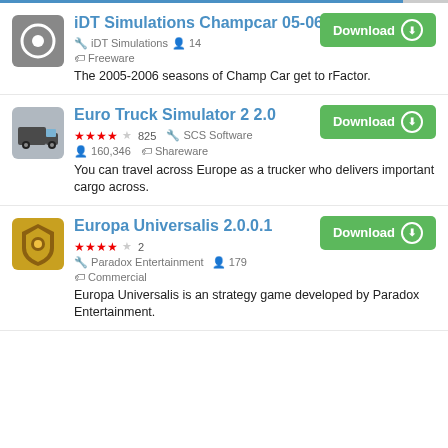iDT Simulations Champcar 05-06 Mod 1.50 | iDT Simulations | 14 users | Freeware | The 2005-2006 seasons of Champ Car get to rFactor.
Euro Truck Simulator 2 2.0 | 4/5 stars 825 | SCS Software | 160,346 users | Shareware | You can travel across Europe as a trucker who delivers important cargo across.
Europa Universalis 2.0.0.1 | 4/5 stars 2 | Paradox Entertainment | 179 users | Commercial | Europa Universalis is an strategy game developed by Paradox Entertainment.